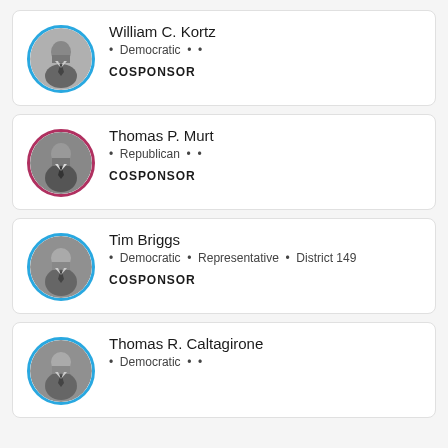[Figure (photo): Headshot of William C. Kortz in circular frame with blue border]
William C. Kortz
• Democratic • •
COSPONSOR
[Figure (photo): Headshot of Thomas P. Murt in circular frame with red/maroon border]
Thomas P. Murt
• Republican • •
COSPONSOR
[Figure (photo): Headshot of Tim Briggs in circular frame with blue border]
Tim Briggs
• Democratic • Representative • District 149
COSPONSOR
[Figure (photo): Headshot of Thomas R. Caltagirone in circular frame with blue border]
Thomas R. Caltagirone
• Democratic • •